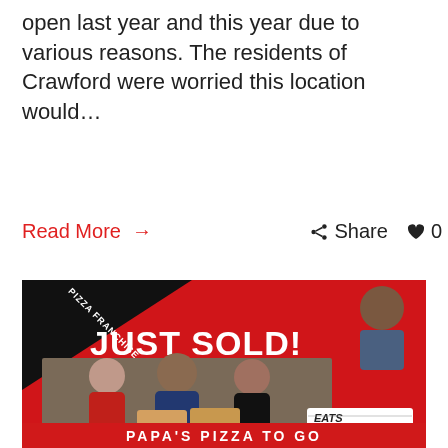open last year and this year due to various reasons. The residents of Crawford were worried this location would…
Read More → Share ♥ 0
[Figure (photo): A promotional image showing JUST SOLD! in white bold text on a red background with PIZZA FRANCHISE banner in the top left corner. Three people stand posing in a pizza restaurant holding pizza boxes with a Papa's Pizza To Go logo. A man in a suit appears in the top right. An EATS Restaurant Brokers logo appears bottom right.]
PAPA'S PIZZA TO GO